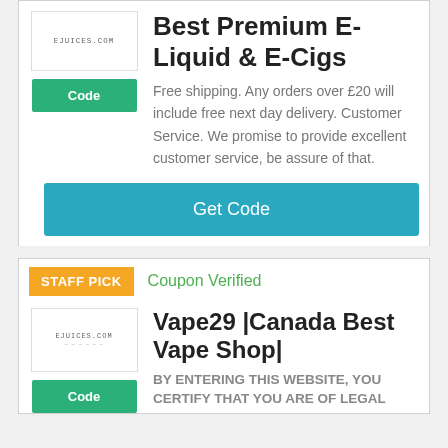Best Premium E-Liquid & E-Cigs
Free shipping. Any orders over £20 will include free next day delivery. Customer Service. We promise to provide excellent customer service, be assure of that.
Get Code
STAFF PICK
Coupon Verified
Vape29 |Canada Best Vape Shop|
BY ENTERING THIS WEBSITE, YOU CERTIFY THAT YOU ARE OF LEGAL